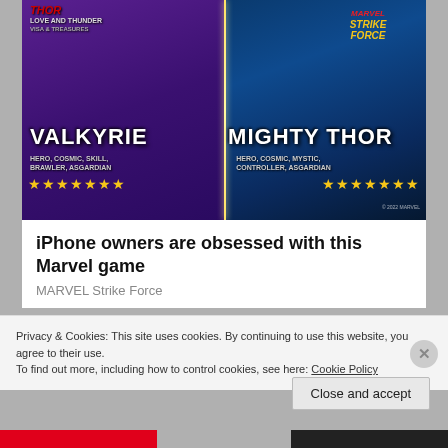[Figure (screenshot): Marvel Strike Force game advertisement showing Valkyrie and Mighty Thor characters with star ratings and game logos]
iPhone owners are obsessed with this Marvel game
MARVEL Strike Force
Privacy & Cookies: This site uses cookies. By continuing to use this website, you agree to their use.
To find out more, including how to control cookies, see here: Cookie Policy
Close and accept